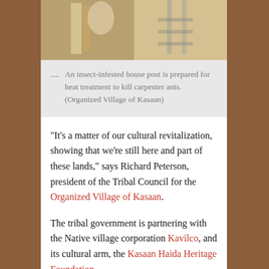[Figure (photo): A photograph of an insect-infested house post being prepared for heat treatment to kill carpenter ants.]
— An insect-infested house post is prepared for heat treatment to kill carpenter ants. (Organized Village of Kasaan)
“It’s a matter of our cultural revitalization, showing that we’re still here and part of these lands,” says Richard Peterson, president of the Tribal Council for the Organized Village of Kasaan.
The tribal government is partnering with the Native village corporation Kavilco, and its cultural arm, the Kasaan Haida Heritage Foundation.
“A lot of the building is still in really good condition. Some of the supports are what’s failing. I think we’re fortunate enough that we don’t need a total reconstruction, so we